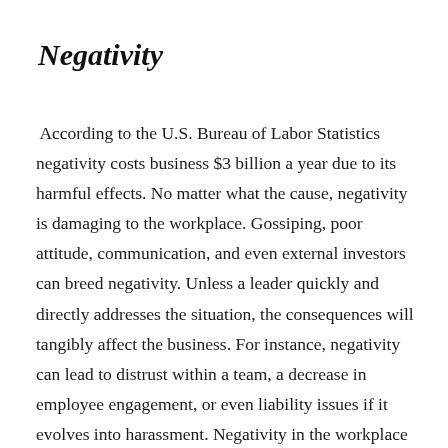Negativity
According to the U.S. Bureau of Labor Statistics negativity costs business $3 billion a year due to its harmful effects. No matter what the cause, negativity is damaging to the workplace. Gossiping, poor attitude, communication, and even external investors can breed negativity. Unless a leader quickly and directly addresses the situation, the consequences will tangibly affect the business. For instance, negativity can lead to distrust within a team, a decrease in employee engagement, or even liability issues if it evolves into harassment. Negativity in the workplace saps energy and diverts attention from productivity and performance, and because of this, leaders need to be proactive in maintaining a